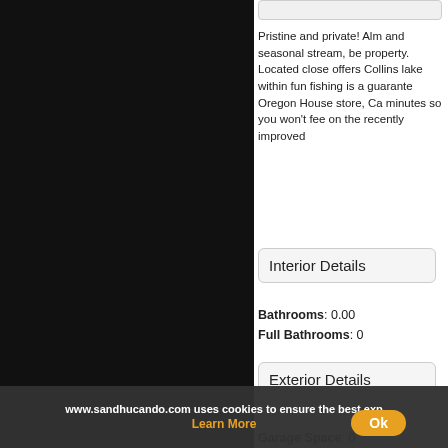[Figure (photo): Dark/black panel, likely a property photo area on the left side of the page]
Pristine and private! Alm and seasonal stream, be property. Located close offers Collins lake within fun fishing is a guarante Oregon House store, Ca minutes so you won't fee on the recently improved
Interior Details
Bathrooms: 0.00
Full Bathrooms: 0
Exterior Details
Garage Space: 0
Road Surface:
www.sandhucando.com uses cookies to ensure the best exp
Learn More